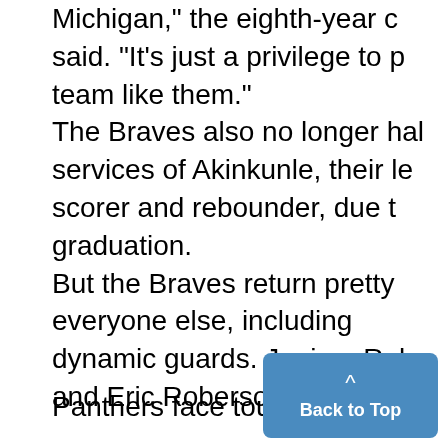Michigan," the eighth-year c said. "It's just a privilege to p team like them." The Braves also no longer hal services of Akinkunle, their le scorer and rebounder, due t graduation. But the Braves return pretty everyone else, including dynamic guards. Juniors Rob and Eric Roberson and sophc
Panthers face tough road ahea